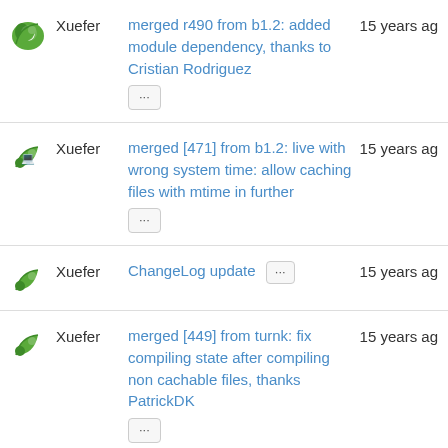Xuefer merged r490 from b1.2: added module dependency, thanks to Cristian Rodriguez ... 15 years ago
Xuefer merged [471] from b1.2: live with wrong system time: allow caching files with mtime in further ... 15 years ago
Xuefer ChangeLog update ... 15 years ago
Xuefer merged [449] from turnk: fix compiling state after compiling non cachable files, thanks PatrickDK ... 15 years ago